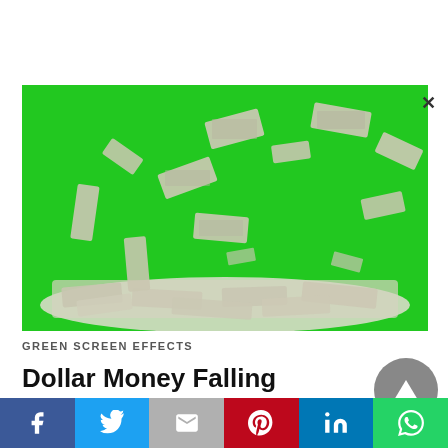[Figure (screenshot): Video thumbnail showing dollar bills falling on a bright green screen background, with a pile of money accumulating at the bottom. A close (X) button is visible at the top right corner of the thumbnail.]
GREEN SCREEN EFFECTS
Dollar Money Falling Background Green Screen No Copyright Video Footage | Black
[Figure (other): Circular play/scroll-to-top button (grey circle with upward pointing triangle/arrow)]
[Figure (infographic): Social share bar with six buttons: Facebook (blue, F icon), Twitter (light blue, bird icon), Gmail (grey, M icon), Pinterest (red, P icon), LinkedIn (blue, in icon), WhatsApp (green, phone icon)]